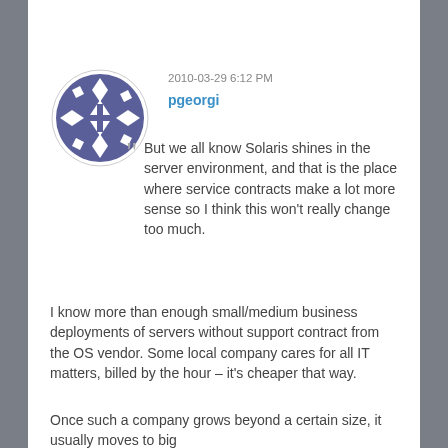2010-03-29 6:12 PM
pgeorgi
But we all know Solaris shines in the server environment, and that is the place where service contracts make a lot more sense so I think this won't really change too much.
I know more than enough small/medium business deployments of servers without support contract from the OS vendor. Some local company cares for all IT matters, billed by the hour – it's cheaper that way.
Once such a company grows beyond a certain size, it usually moves to big